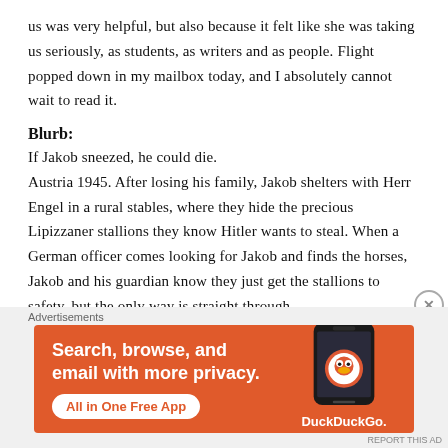us was very helpful, but also because it felt like she was taking us seriously, as students, as writers and as people. Flight popped down in my mailbox today, and I absolutely cannot wait to read it.
Blurb:
If Jakob sneezed, he could die. Austria 1945. After losing his family, Jakob shelters with Herr Engel in a rural stables, where they hide the precious Lipizzaner stallions they know Hitler wants to steal. When a German officer comes looking for Jakob and finds the horses, Jakob and his guardian know they just get the stallions to safety, but the only way is straight through
[Figure (infographic): DuckDuckGo advertisement banner: orange background, text 'Search, browse, and email with more privacy. All in One Free App' with phone image and DuckDuckGo logo/name]